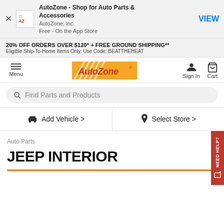[Figure (screenshot): AutoZone app banner with AZ icon, app name, publisher, price, and VIEW button]
20% OFF ORDERS OVER $120* + FREE GROUND SHIPPING**
Eligible Ship-To-Home Items Only. Use Code: BEATTHEHEAT
[Figure (logo): AutoZone logo with orange diagonal stripes and red AutoZone text]
Find Parts and Products
Add Vehicle >
Select Store >
Auto Parts
JEEP INTERIOR